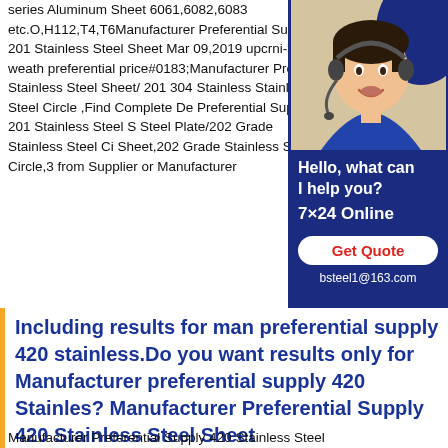series Aluminum Sheet 6061,6082,6083 etc.O,H112,T4,T6Manufacturer Preferential Supply 201 Stainless Steel Sheet Mar 09,2019 upcrni-a weather preferential price#0183;Manufacturer Preferential Stainless Steel Sheet/ 201 304 Stainless Stainless Steel Circle ,Find Complete Details Preferential Supply 201 Stainless Steel S Steel Plate/202 Grade Stainless Steel Ci Sheet,202 Grade Stainless Steel Circle,3 from Supplier or Manufacturer
[Figure (photo): Customer service representative wearing headset, with blue background ad panel showing 'Hello, what can I help you? 7x24 Online Get Quote bsteel1@163.com']
Including results for manufacturer preferential supply 420 stainless.Do you want results only for Manufacturer preferential supply 420 Stainles? Manufacturer Preferential Supply 420 Stainless Steel Sheet
Manufacturer Preferential Supply 420 Stainless Steel